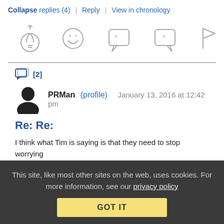Collapse replies (4) | Reply | View in chronology
[Figure (other): Row of five action icons: lightbulb, laughing face, quote bubble with left quotes, quote bubble with right quotes, flag]
[2]
PRMan (profile)  January 13, 2016 at 12:42 pm
Re: Re:
I think what Tim is saying is that they need to stop worrying about it so much. Heavily pirated movies can still do very well at
This site, like most other sites on the web, uses cookies. For more information, see our privacy policy  GOT IT